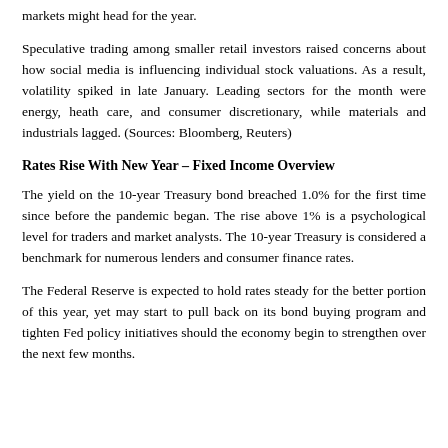markets might head for the year.
Speculative trading among smaller retail investors raised concerns about how social media is influencing individual stock valuations. As a result, volatility spiked in late January. Leading sectors for the month were energy, heath care, and consumer discretionary, while materials and industrials lagged. (Sources: Bloomberg, Reuters)
Rates Rise With New Year – Fixed Income Overview
The yield on the 10-year Treasury bond breached 1.0% for the first time since before the pandemic began. The rise above 1% is a psychological level for traders and market analysts. The 10-year Treasury is considered a benchmark for numerous lenders and consumer finance rates.
The Federal Reserve is expected to hold rates steady for the better portion of this year, yet may start to pull back on its bond buying program and tighten Fed policy initiatives should the economy begin to strengthen over the next few months.